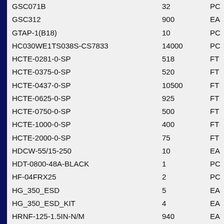| Item | Quantity | Unit |
| --- | --- | --- |
| GSC071B | 32 | PC |
| GSC312 | 900 | EA |
| GTAP-1(B18) | 10 | PC |
| HC030WE1TS038S-CS7833 | 14000 | PC |
| HCTE-0281-0-SP | 518 | FT |
| HCTE-0375-0-SP | 520 | FT |
| HCTE-0437-0-SP | 10500 | FT |
| HCTE-0625-0-SP | 925 | FT |
| HCTE-0750-0-SP | 500 | FT |
| HCTE-1000-0-SP | 400 | FT |
| HCTE-2000-0-SP | 75 | FT |
| HDCW-55/15-250 | 10 | EA |
| HDT-0800-48A-BLACK | 1 | PC |
| HF-04FRX25 | 2 | PC |
| HG_350_ESD | 5 | EA |
| HG_350_ESD_KIT | 4 | EA |
| HRNF-125-1.5IN-N/M | 940 | EA |
| HS032BK1TS038S-CS7833 | 4 | BX |
| HS032WE1TS050S-CS7833 | 12 | BX |
| HS032YW1NF038B | 1060 | PC |
| HS048BK1TS038S-CS7833 | 4000 | PC |
| HS048WE1TS038S-CS7833 | 26 | BX |
| HS095WE1TS038S-CS7833 | 20 | BX |